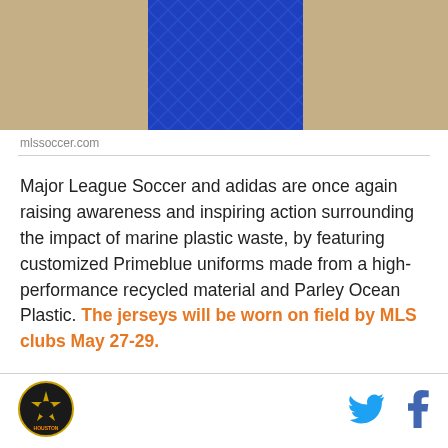[Figure (photo): Close-up photo of a blue adidas Primeblue MLS soccer jersey with a patterned design, against a sandy/earth-toned background]
mlssoccer.com
Major League Soccer and adidas are once again raising awareness and inspiring action surrounding the impact of marine plastic waste, by featuring customized Primeblue uniforms made from a high-performance recycled material and Parley Ocean Plastic. The jerseys will be worn on field by MLS clubs May 27-29.
[Figure (logo): Houston Dynamo or similar MLS team logo — circular badge with star and text]
[Figure (logo): Twitter bird icon in blue]
[Figure (logo): Facebook f icon in dark blue]